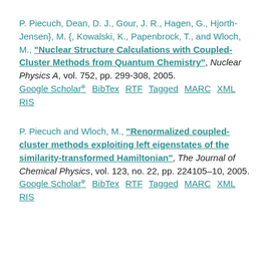P. Piecuch, Dean, D. J., Gour, J. R., Hagen, G., Hjorth-Jensen}, M. {, Kowalski, K., Papenbrock, T., and Wloch, M., "Nuclear Structure Calculations with Coupled-Cluster Methods from Quantum Chemistry", Nuclear Physics A, vol. 752, pp. 299-308, 2005. Google Scholar BibTex RTF Tagged MARC XML RIS
P. Piecuch and Wloch, M., "Renormalized coupled-cluster methods exploiting left eigenstates of the similarity-transformed Hamiltonian", The Journal of Chemical Physics, vol. 123, no. 22, pp. 224105-10, 2005. Google Scholar BibTex RTF Tagged MARC XML RIS